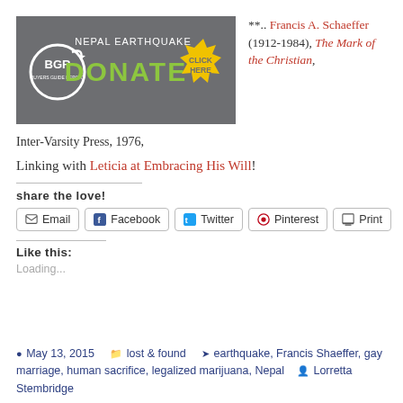[Figure (screenshot): BGR Nepal Earthquake Donate banner advertisement with gray background, BGR logo, green DONATE text, and yellow 'CLICK HERE' starburst button]
**.. Francis A. Schaeffer (1912-1984), The Mark of the Christian, Inter-Varsity Press, 1976,
Linking with Leticia at Embracing His Will!
share the love!
Email  Facebook  Twitter  Pinterest  Print
Like this:
Loading...
May 13, 2015   lost & found   earthquake, Francis Shaeffer, gay marriage, human sacrifice, legalized marijuana, Nepal   Lorretta Stembridge